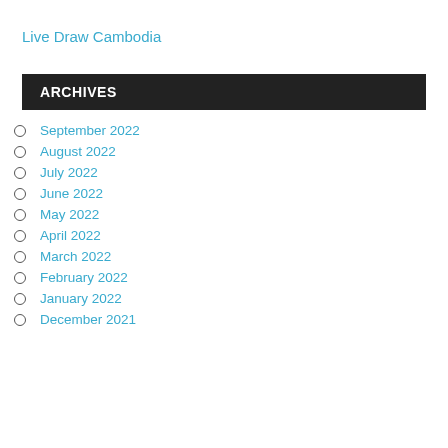Live Draw Cambodia
ARCHIVES
September 2022
August 2022
July 2022
June 2022
May 2022
April 2022
March 2022
February 2022
January 2022
December 2021